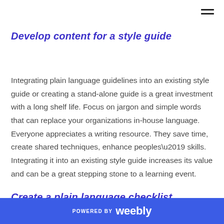Develop content for a style guide
Integrating plain language guidelines into an existing style guide or creating a stand-alone guide is a great investment with a long shelf life. Focus on jargon and simple words that can replace your organizations in-house language. Everyone appreciates a writing resource. They save time, create shared techniques, enhance peoples’ skills. Integrating it into an existing style guide increases its value and can be a great stepping stone to a learning event.
Create a plain language checklist
POWERED BY weebly